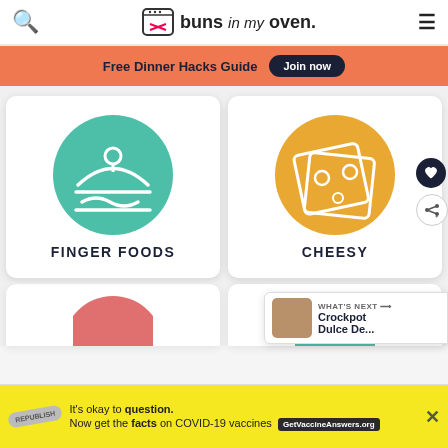buns in my oven
Free Dinner Hacks Guide  Join now
[Figure (illustration): Finger Foods category card with teal circle icon showing a burger/platter with cloche icon]
[Figure (illustration): Cheesy category card with orange circle icon showing cheese slices]
WHAT'S NEXT → Crockpot Dulce De...
[Figure (illustration): Partial red circle icon on bottom left card]
[Figure (illustration): Partial teal circle icon on bottom right card, partially obscured by X close button]
It's okay to question. Now get the facts on COVID-19 vaccines  GetVaccineAnswers.org